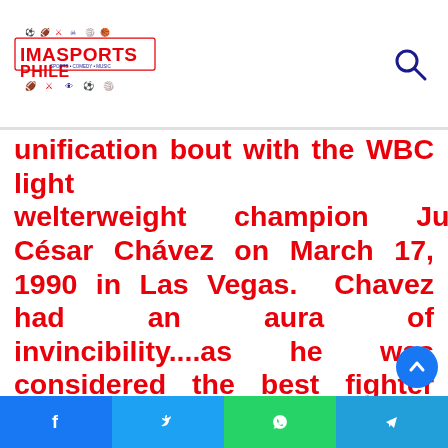IMASPORTSPHILE
unification bout with the WBC light welterweight champion Julio César Chávez on March 17, 1990 in Las Vegas. Chavez had an aura of invincibility....as he was considered the best fighter pound for pound in the world....and also one of the most dangerous fighters in the sport. This fight drew huge media attention....as both men came
Facebook | Twitter | WhatsApp | Telegram